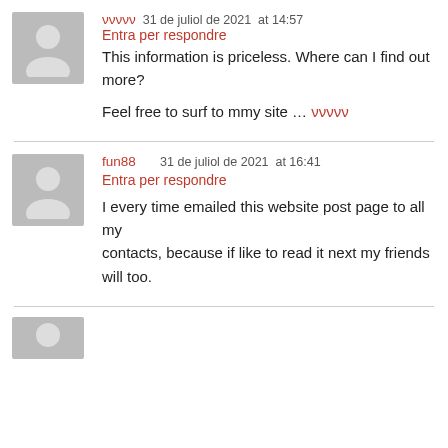ννννν  31 de juliol de 2021  at 14:57  Entra per respondre
This information is priceless. Where can I find out more?
Feel free to surf to mmy site … ννννν
fun88   31 de juliol de 2021  at 16:41  Entra per respondre
I every time emailed this website post page to all my contacts, because if like to read it next my friends will too.